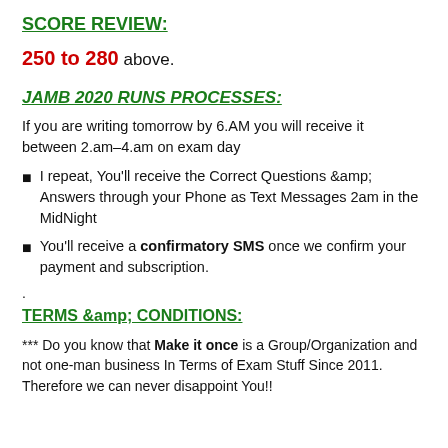SCORE REVIEW:
250 to 280 above.
JAMB 2020 RUNS PROCESSES:
If you are writing tomorrow by 6.AM you will receive it between 2.am–4.am on exam day
I repeat, You'll receive the Correct Questions &amp; Answers through your Phone as Text Messages 2am in the MidNight
You'll receive a confirmatory SMS once we confirm your payment and subscription.
.
TERMS &amp; CONDITIONS:
*** Do you know that Make it once is a Group/Organization and not one-man business In Terms of Exam Stuff Since 2011. Therefore we can never disappoint You!!